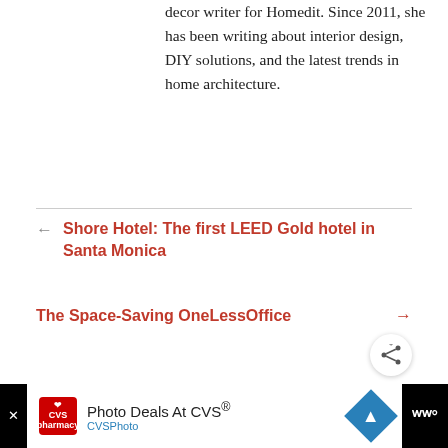decor writer for Homedit. Since 2011, she has been writing about interior design, DIY solutions, and the latest trends in home architecture.
← Shore Hotel: The first LEED Gold hotel in Santa Monica
The Space-Saving OneLessOffice →
WHAT DO YOU THINK?
Your email address will not be published. Required
WHAT'S NEXT → Craft Stores: The Best...
Photo Deals At CVS® CVSPhoto